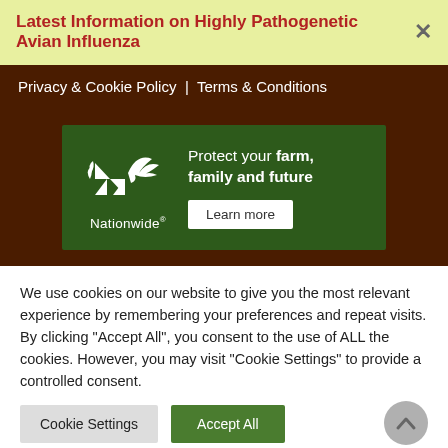Latest Information on Highly Pathogenetic Avian Influenza
Privacy & Cookie Policy  |  Terms & Conditions
[Figure (illustration): Nationwide insurance advertisement banner with logo showing eagle/bird and text: Protect your farm, family and future. Learn more button.]
We use cookies on our website to give you the most relevant experience by remembering your preferences and repeat visits. By clicking "Accept All", you consent to the use of ALL the cookies. However, you may visit "Cookie Settings" to provide a controlled consent.
Cookie Settings
Accept All